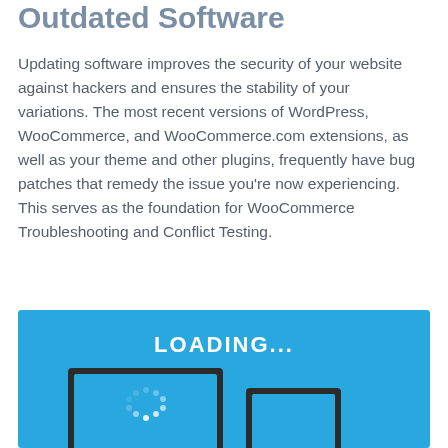Outdated Software
Updating software improves the security of your website against hackers and ensures the stability of your variations. The most recent versions of WordPress, WooCommerce, and WooCommerce.com extensions, as well as your theme and other plugins, frequently have bug patches that remedy the issue you’re now experiencing. This serves as the foundation for WooCommerce Troubleshooting and Conflict Testing.
[Figure (illustration): Blue banner with 'LOADING...' text in white, showing a desktop monitor and a tablet device on a blue background with a spinner icon on the monitor screen.]